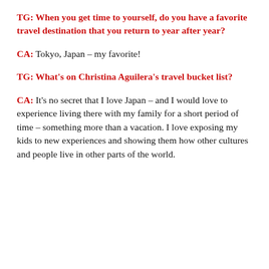TG: When you get time to yourself, do you have a favorite travel destination that you return to year after year?
CA: Tokyo, Japan – my favorite!
TG: What's on Christina Aguilera's travel bucket list?
CA: It's no secret that I love Japan – and I would love to experience living there with my family for a short period of time – something more than a vacation. I love exposing my kids to new experiences and showing them how other cultures and people live in other parts of the world.